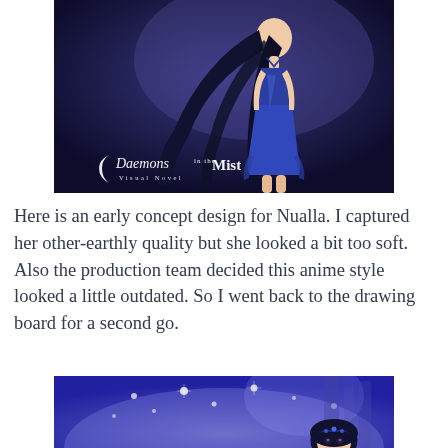[Figure (illustration): Anime-style illustration of a young woman with long dark blue/black hair wearing a blue halter dress, standing against a dark blue/purple background. The image includes the logo 'Daemons in the Mist Visual Novel' in the lower left corner.]
Here is an early concept design for Nualla. I captured her other-earthly quality but she looked a bit too soft. Also the production team decided this anime style looked a little outdated. So I went back to the drawing board for a second go.
[Figure (illustration): Second illustration showing a new concept design of Nualla against a blue/purple glowing background with sparkles, partially visible — showing the upper body and head with dark hair and a crown/headpiece.]